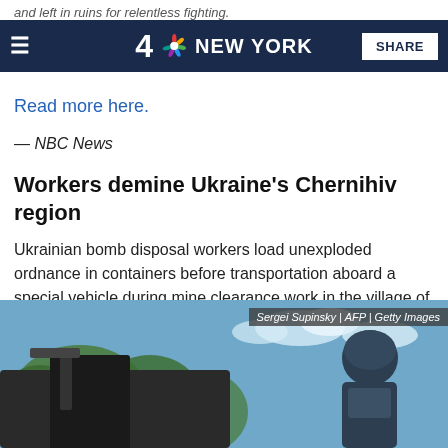4 NBC NEW YORK  SHARE
and left in ruins for relentless fighting.
Read more here.
— NBC News
Workers demine Ukraine's Chernihiv region
Ukrainian bomb disposal workers load unexploded ordnance in containers before transportation aboard a special vehicle during mine clearance work in the village of Yahidne, in the liberated territories of the Chernihiv region.
[Figure (photo): Photo of a Ukrainian bomb disposal worker in protective gear working on a vehicle with trees and sky in background. Credit: Sergei Supinsky | AFP | Getty Images]